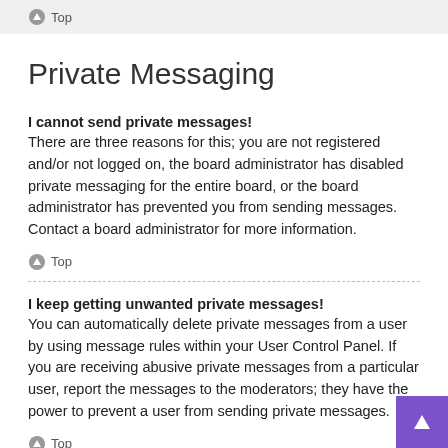Top
Private Messaging
I cannot send private messages!
There are three reasons for this; you are not registered and/or not logged on, the board administrator has disabled private messaging for the entire board, or the board administrator has prevented you from sending messages. Contact a board administrator for more information.
Top
I keep getting unwanted private messages!
You can automatically delete private messages from a user by using message rules within your User Control Panel. If you are receiving abusive private messages from a particular user, report the messages to the moderators; they have the power to prevent a user from sending private messages.
Top